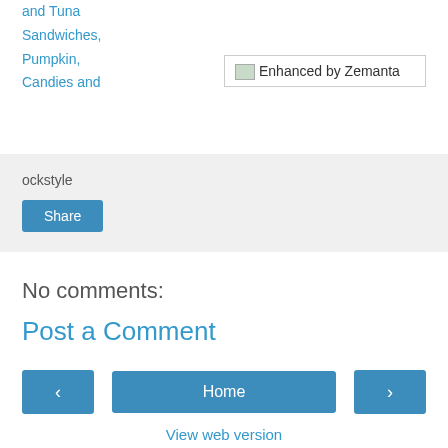and Tuna Sandwiches, Pumpkin, Candies and
[Figure (other): Enhanced by Zemanta badge/button with small image icon]
ockstyle
Share
No comments:
Post a Comment
‹
Home
›
View web version
Powered by Blogger.